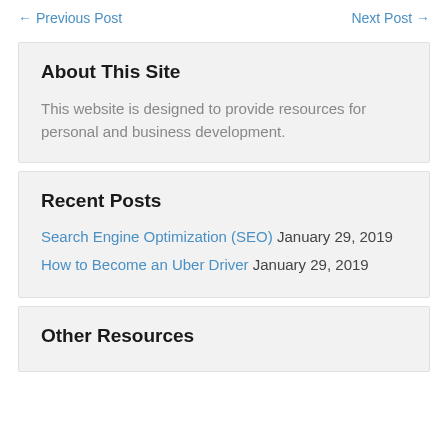← Previous Post    Next Post →
About This Site
This website is designed to provide resources for personal and business development.
Recent Posts
Search Engine Optimization (SEO) January 29, 2019
How to Become an Uber Driver January 29, 2019
Other Resources